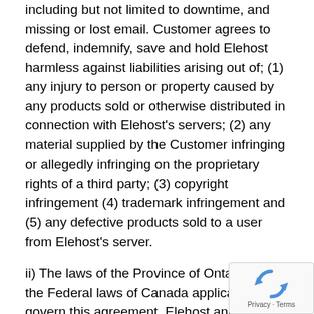including but not limited to downtime, and missing or lost email. Customer agrees to defend, indemnify, save and hold Elehost harmless against liabilities arising out of; (1) any injury to person or property caused by any products sold or otherwise distributed in connection with Elehost's servers; (2) any material supplied by the Customer infringing or allegedly infringing on the proprietary rights of a third party; (3) copyright infringement (4) trademark infringement and (5) any defective products sold to a user from Elehost's server.
ii) The laws of the Province of Ontario and the Federal laws of Canada applicable shall govern this agreement. Elehost and the Customer agree to attorn to the jurisdiction of the courts of Ontario located in Metropolitan Toronto.
6) Transferability
Should Elehost be acquired, taken over or merged with